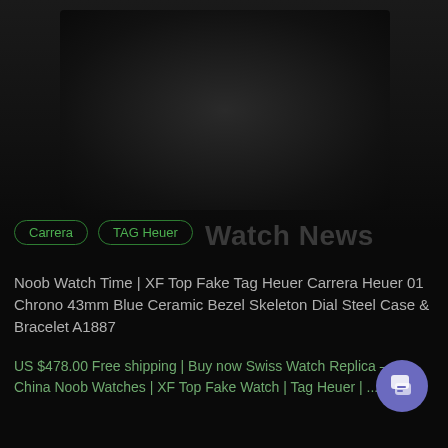[Figure (photo): Dark screenshot of a product listing page showing a TAG Heuer Carrera watch image (very darkened/dimmed) at the top]
Carrera
TAG Heuer
Noob Watch Time | XF Top Fake Tag Heuer Carrera Heuer 01 Chrono 43mm Blue Ceramic Bezel Skeleton Dial Steel Case & Bracelet A1887
US $478.00 Free shipping | Buy now Swiss Watch Replica – China Noob Watches | XF Top Fake Watch | Tag Heuer | ...